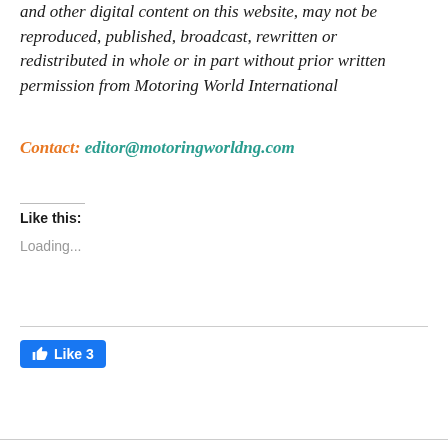and other digital content on this website, may not be reproduced, published, broadcast, rewritten or redistributed in whole or in part without prior written permission from Motoring World International
Contact: editor@motoringworldng.com
Like this:
Loading...
[Figure (other): Facebook Like button showing thumbs up icon and count of 3]